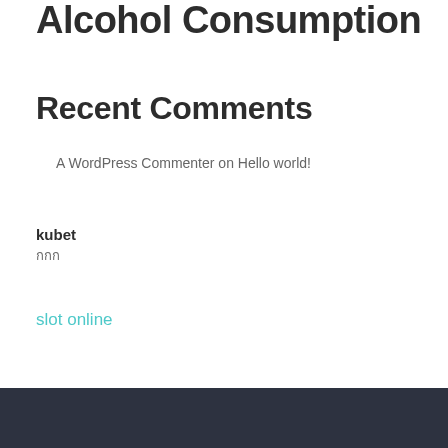Alcohol Consumption
Recent Comments
A WordPress Commenter on Hello world!
kubet
กกก
slot online